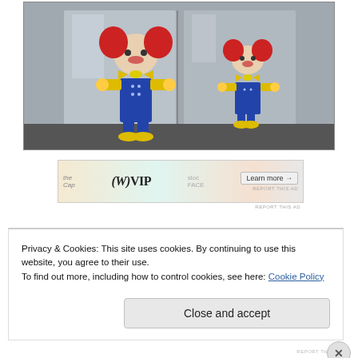[Figure (photo): Two colorful cartoon character figurines (clown-like mouse/bear characters with red hair, yellow bow ties, blue overalls, and yellow shoes) frozen or displayed in blocks of ice or clear resin, photographed against a gray background.]
[Figure (other): Advertisement banner for WVIP with colorful background showing overlapping documents/cards and a 'Learn more' button with arrow.]
REPORT THIS AD
Privacy & Cookies: This site uses cookies. By continuing to use this website, you agree to their use.
To find out more, including how to control cookies, see here: Cookie Policy
Close and accept